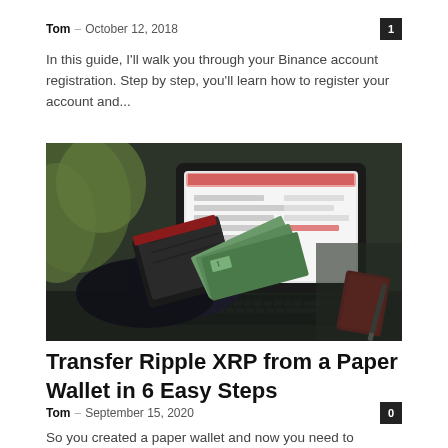Tom – October 12, 2018
In this guide, I'll walk you through your Binance account registration. Step by step, you'll learn how to register your account and...
[Figure (photo): Person holding a leather wallet with cash in front of a laptop/tablet displaying a website, with a red passport and pen visible on the right side, outdoors with green background.]
Transfer Ripple XRP from a Paper Wallet in 6 Easy Steps
Tom – September 15, 2020
So you created a paper wallet and now you need to transfer XRP